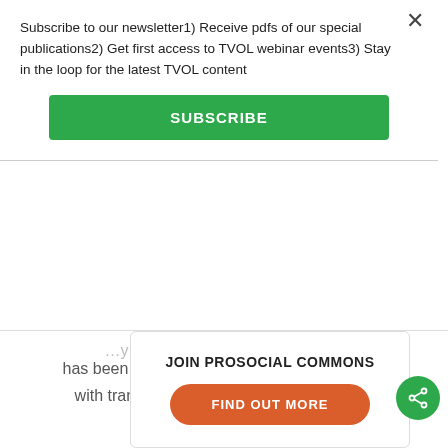Subscribe to our newsletter1) Receive pdfs of our special publications2) Get first access to TVOL webinar events3) Stay in the loop for the latest TVOL content
SUBSCRIBE
has been translated into Japanese and Italian with translations into Hebrew and Chinese ongoing.
JOIN PROSOCIAL COMMONS
FIND OUT MORE